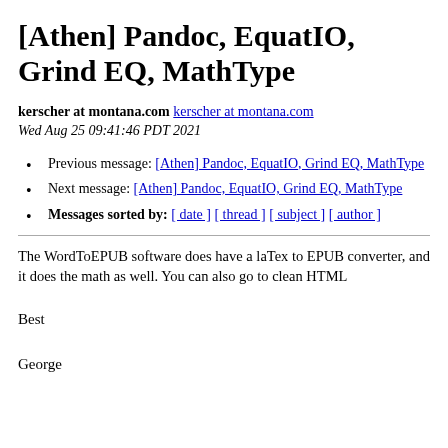[Athen] Pandoc, EquatIO, Grind EQ, MathType
kerscher at montana.com kerscher at montana.com
Wed Aug 25 09:41:46 PDT 2021
Previous message: [Athen] Pandoc, EquatIO, Grind EQ, MathType
Next message: [Athen] Pandoc, EquatIO, Grind EQ, MathType
Messages sorted by: [ date ] [ thread ] [ subject ] [ author ]
The WordToEPUB software does have a laTex to EPUB converter, and it does the math as well. You can also go to clean HTML
Best
George